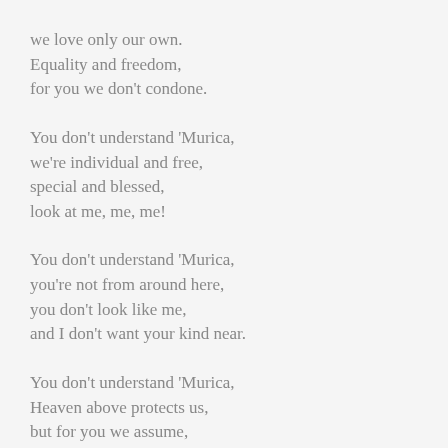we love only our own.
Equality and freedom,
for you we don't condone.
You don't understand 'Murica,
we're individual and free,
special and blessed,
look at me, me, me!
You don't understand 'Murica,
you're not from around here,
you don't look like me,
and I don't want your kind near.
You don't understand 'Murica,
Heaven above protects us,
but for you we assume,